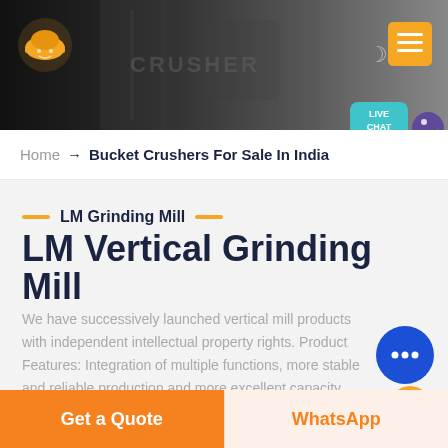[Figure (screenshot): Website header banner with dark background showing industrial crusher machinery, company logo (orange helmet icon), navigation icons including moon/dark mode icon and yellow hamburger menu button]
[Figure (illustration): Live chat bubble in teal/cyan color with text LIVE CHAT and a bird/chat icon]
Home → Bucket Crushers For Sale In India
LM Grinding Mill
LM Vertical Grinding Mill
We have successively launched vertical mill products with independent intellectual property rights. Product Features: Integration of multiple functions, more stable and reliable production and more excellent capacity
[Figure (illustration): Blue circular chat/messaging button with three dots indicating live chat support]
[Figure (illustration): Partial yellow circular button at bottom right]
Get a Quote
WhatsApp